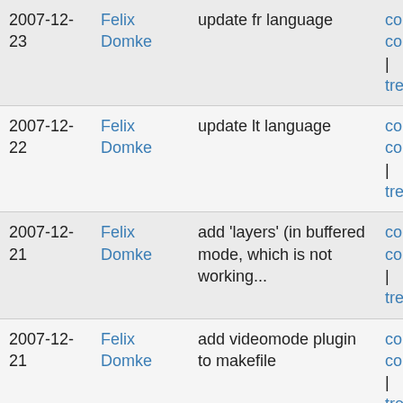| Date | Author | Message | Links |
| --- | --- | --- | --- |
| 2007-12-23 | Felix Domke | update fr language | commit | commitdiff | tree |
| 2007-12-22 | Felix Domke | update lt language | commit | commitdiff | tree |
| 2007-12-21 | Felix Domke | add 'layers' (in buffered mode, which is not working... | commit | commitdiff | tree |
| 2007-12-21 | Felix Domke | add videomode plugin to makefile | commit | commitdiff | tree |
| 2007-12-20 | Felix Domke | add LCD support | commit | commitdiff | tree |
| 2007-12-20 | Felix Domke | create global (real) config entries, update setup on... | commit | commitdiff | |